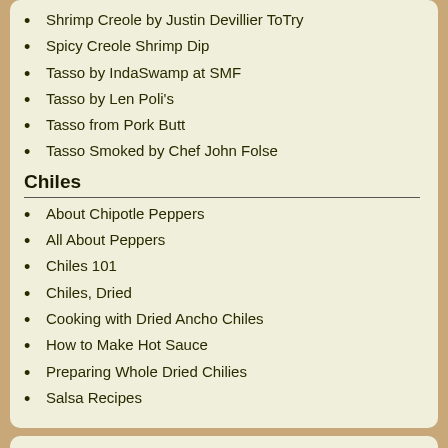Shrimp Creole by Justin Devillier ToTry
Spicy Creole Shrimp Dip
Tasso by IndaSwamp at SMF
Tasso by Len Poli's
Tasso from Pork Butt
Tasso Smoked by Chef John Folse
Chiles
About Chipotle Peppers
All About Peppers
Chiles 101
Chiles, Dried
Cooking with Dried Ancho Chiles
How to Make Hot Sauce
Preparing Whole Dried Chilies
Salsa Recipes
Cast Iron Cookware
CI Hand Molding